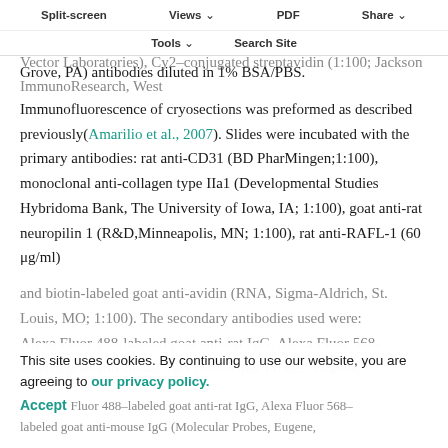Split-screen   Views   PDF   Share
Tools   Search Site
X–100 at room temperature and then incubated overnight at 4°C with biotinylated anti–rat secondary antibody (dilution 1:100; Vector Laboratories), Cy2–conjugated streptavidin (1:100; Jackson ImmunoResearch, West Grove, PA) antibodies diluted in 1% BSA/PBS.
Immunofluorescence of cryosections was preformed as described previously(Amarilio et al., 2007). Slides were incubated with the primary antibodies: rat anti-CD31 (BD PharMingen;1:100), monoclonal anti-collagen type IIa1 (Developmental Studies Hybridoma Bank, The University of Iowa, IA; 1:100), goat anti-rat neuropilin 1 (R&D,Minneapolis, MN; 1:100), rat anti-RAFL-1 (60 μg/ml)
and biotin-labeled goat anti-avidin (RNA, Sigma-Aldrich, St. Louis, MO; 1:100). The secondary antibodies used were: Alexa Fluor 488-labeled goat anti-rat IgG, Alexa Fluor 568-labeled goat anti-mouse IgG (Molecular Probes, Eugene,
This site uses cookies. By continuing to use our website, you are agreeing to our privacy policy.
Accept